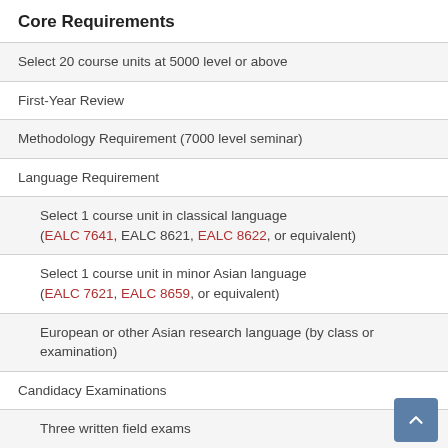Core Requirements
Select 20 course units at 5000 level or above
First-Year Review
Methodology Requirement (7000 level seminar)
Language Requirement
Select 1 course unit in classical language (EALC 7641, EALC 8621, EALC 8622, or equivalent)
Select 1 course unit in minor Asian language (EALC 7621, EALC 8659, or equivalent)
European or other Asian research language (by class or examination)
Candidacy Examinations
Three written field exams
Research exam
Oral exam